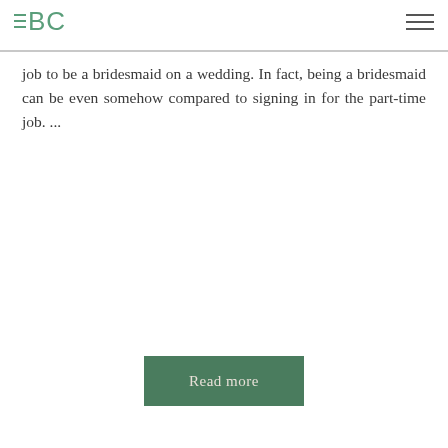EBC
job to be a bridesmaid on a wedding. In fact, being a bridesmaid can be even somehow compared to signing in for the part-time job. ...
Read more